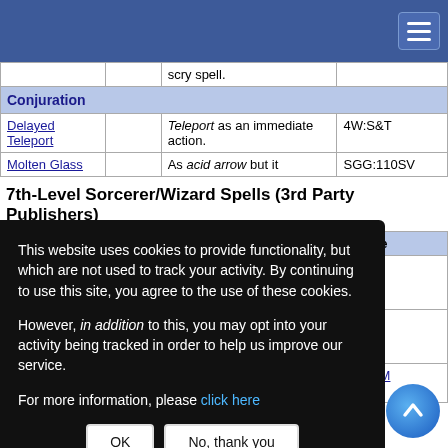| Spell Name | Comp. | Description | Source |
| --- | --- | --- | --- |
|  |  | scry spell. |  |
| Conjuration |  |  |  |
| Delayed Teleport |  | Teleport as an immediate action. | 4W:S&T |
| Molten Glass |  | As acid arrow but it | SGG:110SV |
7th-Level Sorcerer/Wizard Spells (3rd Party Publishers)
| Spell Name | Comp. | Description | Source |
| --- | --- | --- | --- |
|  |  | ...ess ...es ... | AG:PS |
|  |  | ...ht ...es ...ow | AG:PS |
|  |  | ...e ...anywhere you can see | SGG:IM |
This website uses cookies to provide functionality, but which are not used to track your activity. By continuing to use this site, you agree to the use of these cookies.

However, in addition to this, you may opt into your activity being tracked in order to help us improve our service.

For more information, please click here